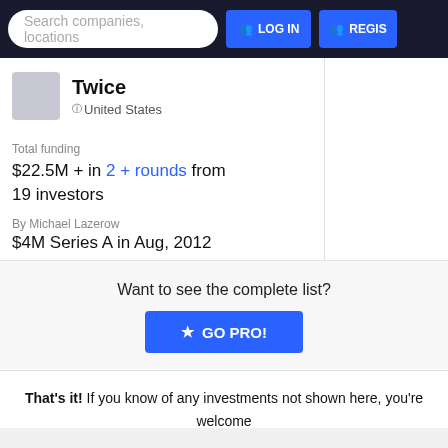Search companies, locations  LOG IN  REGIS
Twice
United States
Total funding
$22.5M + in 2 + rounds from 19 investors
By Michael Lazerow
$4M Series A in Aug, 2012
Exit eBay, Jul 20, 2015
Want to see the complete list?
★ GO PRO!
That's it! If you know of any investments not shown here, you're welcome to add them to Index.  ADD AN INVESTMENT